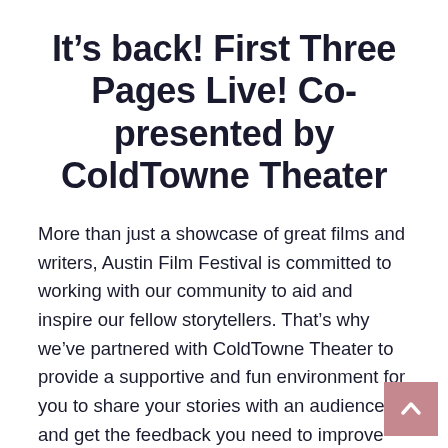It's back! First Three Pages Live! Co-presented by ColdTowne Theater
More than just a showcase of great films and writers, Austin Film Festival is committed to working with our community to aid and inspire our fellow storytellers. That's why we've partnered with ColdTowne Theater to provide a supportive and fun environment for you to share your stories with an audience and get the feedback you need to improve your writing. Have a screenplay you're working on? A play? A podcast? A web series? A